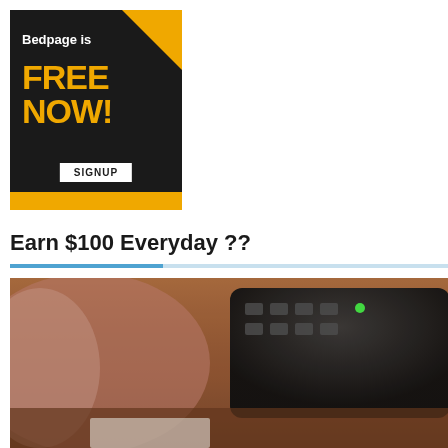[Figure (illustration): Advertisement banner for Bedpage. Black background with yellow accent triangle in top-right corner and yellow bar at bottom. White text reads 'Bedpage is' and large yellow bold text reads 'FREE NOW!' with a white button labeled 'SIGNUP'.]
Earn $100 Everyday ??
[Figure (photo): Close-up photo of a calculator or keyboard device sitting on a wooden desk surface, blurred background.]